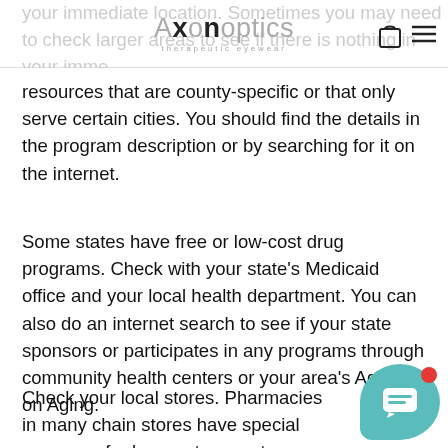Axon Optics — therapeutic eyewear (logo/navbar)
resources that are county-specific or that only serve certain cities. You should find the details in the program description or by searching for it on the internet.
Some states have free or low-cost drug programs. Check with your state's Medicaid office and your local health department. You can also do an internet search to see if your state sponsors or participates in any programs through community health centers or your area's Agency on Aging.
Check your local stores. Pharmacies in many chain stores have special programs for low-cost no-cost prescriptions, including migraine medication and more. Walmart, Publix, Walgreens, and other…